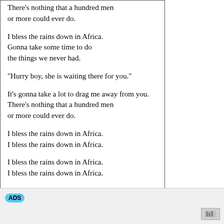There's nothing that a hundred men or more could ever do.

I bless the rains down in Africa.
Gonna take some time to do
the things we never had.

"Hurry boy, she is waiting there for you."

It's gonna take a lot to drag me away from you.
There's nothing that a hundred men
or more could ever do.

I bless the rains down in Africa.
I bless the rains down in Africa.

I bless the rains down in Africa.
I bless the rains down in Africa.

I bless the rains down in Africa.
Gonna take some time to do
the things we never had.
ADS